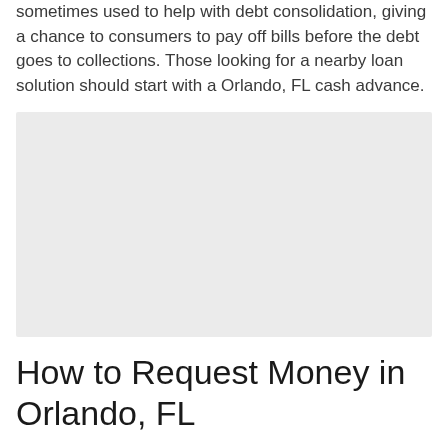sometimes used to help with debt consolidation, giving a chance to consumers to pay off bills before the debt goes to collections. Those looking for a nearby loan solution should start with a Orlando, FL cash advance.
[Figure (other): A light gray rectangular placeholder image]
How to Request Money in Orlando, FL